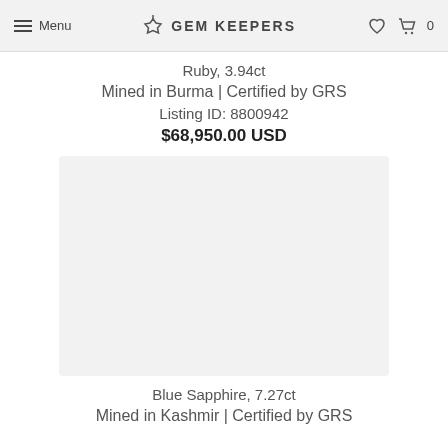Menu | GEM KEEPERS | ♡ 🛒 0
Ruby, 3.94ct
Mined in Burma | Certified by GRS
Listing ID: 8800942
$68,950.00 USD
[Figure (photo): Placeholder image area for a gemstone product listing (light grey rectangle)]
Blue Sapphire, 7.27ct
Mined in Kashmir | Certified by GRS